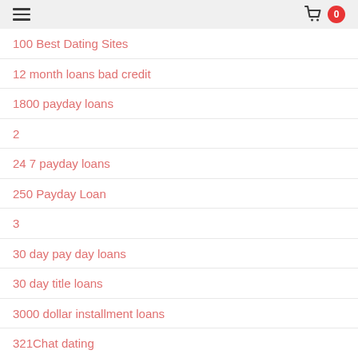menu | cart 0
100 Best Dating Sites
12 month loans bad credit
1800 payday loans
2
24 7 payday loans
250 Payday Loan
3
30 day pay day loans
30 day title loans
3000 dollar installment loans
321Chat dating